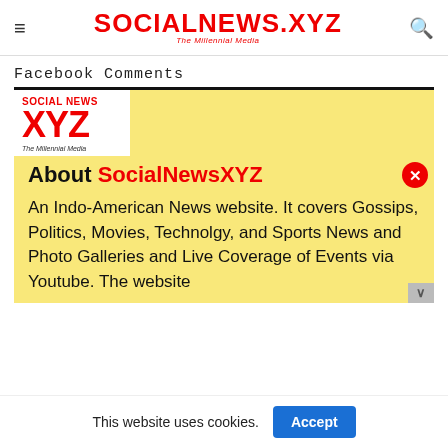SOCIALNEWS.XYZ — The Millennial Media
Facebook Comments
[Figure (logo): SocialNewsXYZ logo — red SOCIAL NEWS XYZ text with tagline 'The Millennial Media' on white background]
About SocialNewsXYZ
An Indo-American News website. It covers Gossips, Politics, Movies, Technolgy, and Sports News and Photo Galleries and Live Coverage of Events via Youtube. The website
This website uses cookies.